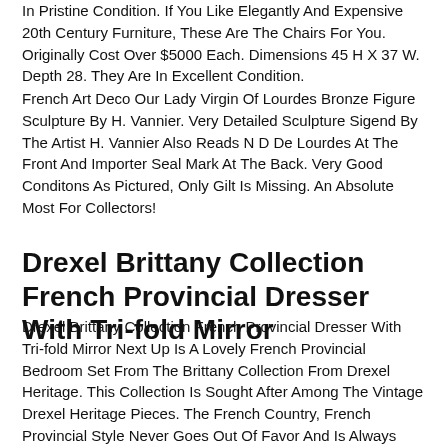In Pristine Condition. If You Like Elegantly And Expensive 20th Century Furniture, These Are The Chairs For You. Originally Cost Over $5000 Each. Dimensions 45 H X 37 W. Depth 28. They Are In Excellent Condition.
French Art Deco Our Lady Virgin Of Lourdes Bronze Figure Sculpture By H. Vannier. Very Detailed Sculpture Sigend By The Artist H. Vannier Also Reads N D De Lourdes At The Front And Importer Seal Mark At The Back. Very Good Conditons As Pictured, Only Gilt Is Missing. An Absolute Most For Collectors!
Drexel Brittany Collection French Provincial Dresser With Tri-fold Mirror
Drexel Brittany Collection French Provincial Dresser With Tri-fold Mirror Next Up Is A Lovely French Provincial Bedroom Set From The Brittany Collection From Drexel Heritage. This Collection Is Sought After Among The Vintage Drexel Heritage Pieces. The French Country, French Provincial Style Never Goes Out Of Favor And Is Always Warm And Inviting In Any Style Home. The Brittany Collection Has The Provincial Styling With The Addition Of Hand Painted Details.
19th Century French Study Bird & Dragonfly Ludovic Napoléon Lepic (1839-1889). By Ludovic Napolon Lepic (1839-1889). Fine 19th Century French Woodland Study Of A Bird Watching A Dragonfly, Oil On Canvas Attributed